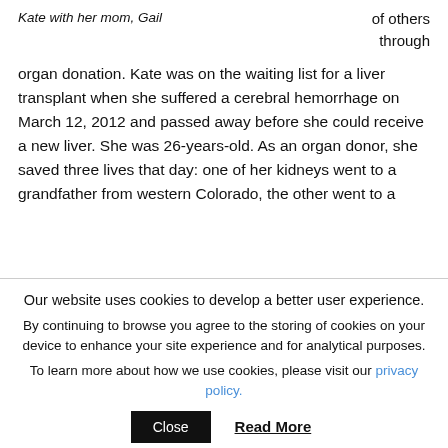Kate with her mom, Gail
of others through
organ donation. Kate was on the waiting list for a liver transplant when she suffered a cerebral hemorrhage on March 12, 2012 and passed away before she could receive a new liver. She was 26-years-old. As an organ donor, she saved three lives that day: one of her kidneys went to a grandfather from western Colorado, the other went to a
Our website uses cookies to develop a better user experience.
By continuing to browse you agree to the storing of cookies on your device to enhance your site experience and for analytical purposes.
To learn more about how we use cookies, please visit our privacy policy.
Close   Read More